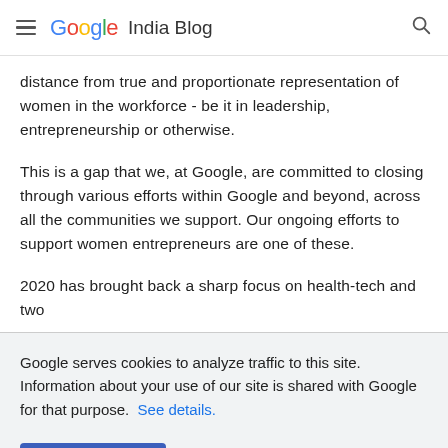Google India Blog
distance from true and proportionate representation of women in the workforce - be it in leadership, entrepreneurship or otherwise.
This is a gap that we, at Google, are committed to closing through various efforts within Google and beyond, across all the communities we support. Our ongoing efforts to support women entrepreneurs are one of these.
2020 has brought back a sharp focus on health-tech and two
Google serves cookies to analyze traffic to this site. Information about your use of our site is shared with Google for that purpose.  See details.
OK